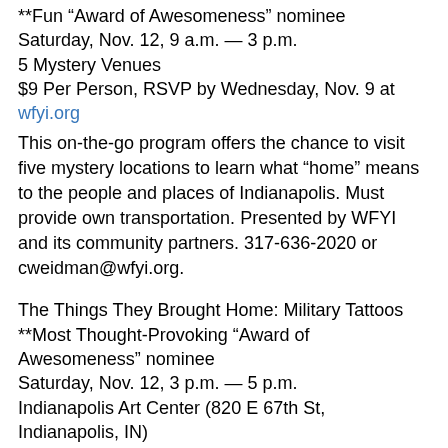**Fun “Award of Awesomeness” nominee
Saturday, Nov. 12, 9 a.m. — 3 p.m.
5 Mystery Venues
$9 Per Person, RSVP by Wednesday, Nov. 9 at wfyi.org
This on-the-go program offers the chance to visit five mystery locations to learn what “home” means to the people and places of Indianapolis. Must provide own transportation. Presented by WFYI and its community partners. 317-636-2020 or cweidman@wfyi.org.
The Things They Brought Home: Military Tattoos
**Most Thought-Provoking “Award of Awesomeness” nominee
Saturday, Nov. 12, 3 p.m. — 5 p.m.
Indianapolis Art Center (820 E 67th St, Indianapolis, IN)
FREE
This interactive art exhibition explores the veteran